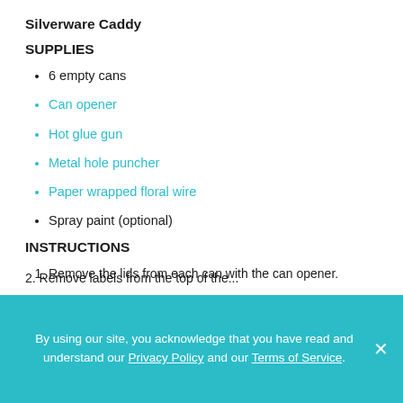Silverware Caddy
SUPPLIES
6 empty cans
Can opener
Hot glue gun
Metal hole puncher
Paper wrapped floral wire
Spray paint (optional)
INSTRUCTIONS
Remove the lids from each can with the can opener.
2. [partially visible text cut off]
By using our site, you acknowledge that you have read and understand our Privacy Policy and our Terms of Service.